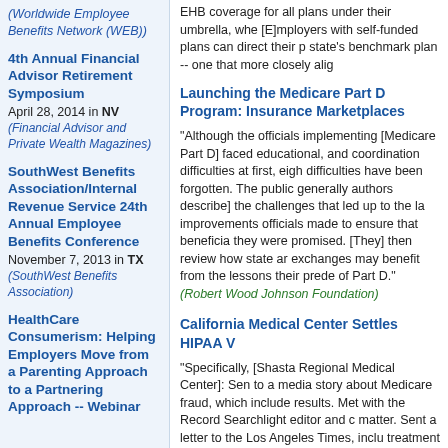(Worldwide Employee Benefits Network (WEB))
4th Annual Financial Advisor Retirement Symposium
April 28, 2014 in NV
(Financial Advisor and Private Wealth Magazines)
SouthWest Benefits Association/Internal Revenue Service 24th Annual Employee Benefits Conference
November 7, 2013 in TX
(SouthWest Benefits Association)
HealthCare Consumerism: Helping Employers Move from a Parenting Approach to a Partnering Approach -- Webinar
Launching the Medicare Part D Program: Insurance Marketplaces
"Although the officials implementing [Medicare Part D] faced educational, and coordination difficulties at first, eight years later, the difficulties have been forgotten. The public generally [and the authors describe] the challenges that led up to the launch, the improvements officials made to ensure that beneficiaries received what they were promised. [They] then review how state and federal exchanges may benefit from the lessons their predecessors learned out of Part D." (Robert Wood Johnson Foundation)
California Medical Center Settles HIPAA V
"Specifically, [Shasta Regional Medical Center]: Sent an e-mail to a media story about Medicare fraud, which included the patient's results. Met with the Record Searchlight editor and discussed the matter. Sent a letter to the Los Angeles Times, including the patient's treatment involved in the matter. Sent an e-mail to approximately 1,100 employees, including information about the medical condition of the patient involved in the matter. Failed to sanction employees per its internal sanction policy." (Nixon Peabody LLP)